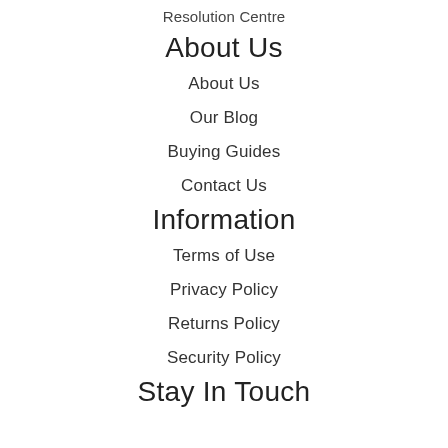Resolution Centre
About Us
About Us
Our Blog
Buying Guides
Contact Us
Information
Terms of Use
Privacy Policy
Returns Policy
Security Policy
Stay In Touch